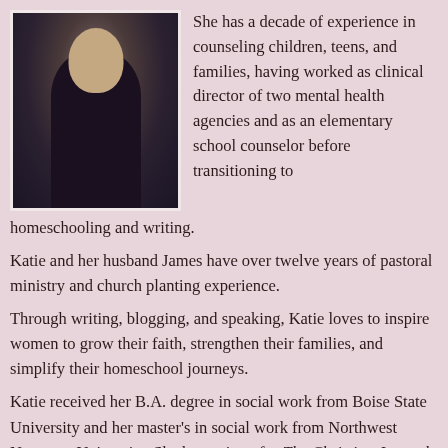[Figure (photo): Professional photo of a woman with dark hair wearing a black outfit, arms crossed, against a dark studio background]
She has a decade of experience in counseling children, teens, and families, having worked as clinical director of two mental health agencies and as an elementary school counselor before transitioning to homeschooling and writing.
Katie and her husband James have over twelve years of pastoral ministry and church planting experience.
Through writing, blogging, and speaking, Katie loves to inspire women to grow their faith, strengthen their families, and simplify their homeschool journeys.
Katie received her B.A. degree in social work from Boise State University and her master's in social work from Northwest Nazarene University. She has written for The Christian Journal magazine, blogs, and several websites.